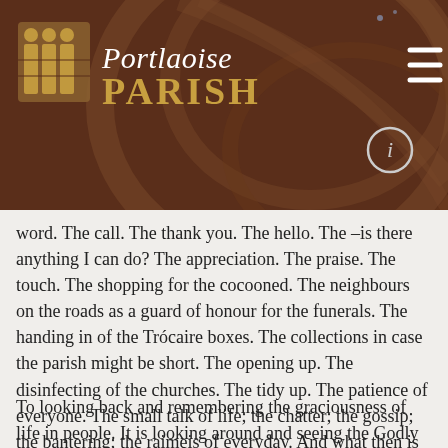[Figure (logo): Portlaoise Parish logo with church arch icon and text, on dark brown background with decorative arch swirls]
word. The call. The thank you. The hello. The –is there anything I can do? The appreciation. The praise. The touch. The shopping for the cocooned. The neighbours on the roads as a guard of honour for the funerals. The handing in of the Trócaire boxes. The collections in case the parish might be short. The opening up. The disinfecting of the churches. The tidy up. The patience of everyone. The small talk of life; the chatter; the gossip; the bantering; the raimeis of everyday. And what then is prayer? It is noticing the little things. The little people. The little gifts. The little beauty. The hidden gems. The wonder. It is being able to see. To take off the shoes. To bow the head. To be grateful. To being aware.
To looking back and remembering the graciousness of life in people. It is looking around and seeing the Godly image in everyone. It is being at Mass and knowing that it is holy